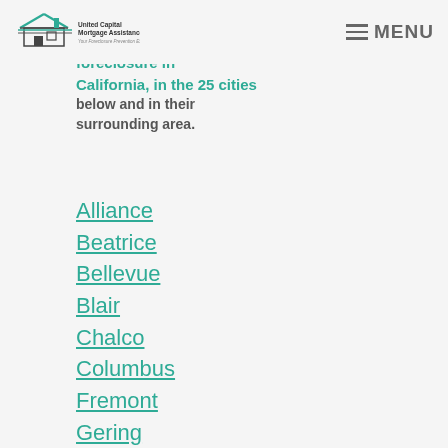[Figure (logo): United Capital Mortgage Assistance logo — house icon with teal roof lines above text 'United Capital Mortgage Assistance / Your Foreclosure Prevention Experts']
foreclosure in California, in the 25 cities below and in their surrounding area.
Alliance
Beatrice
Bellevue
Blair
Chalco
Columbus
Fremont
Gering
Grand Island
Hastings
Kearney
La Vista